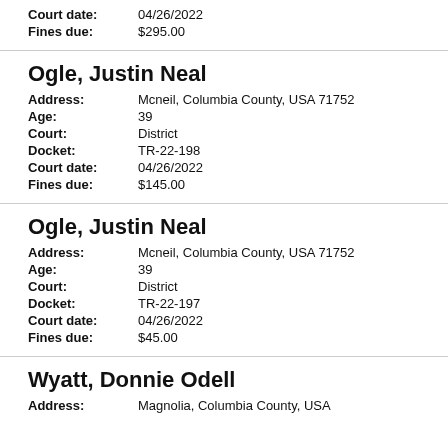Court date: 04/26/2022
Fines due: $295.00
Ogle, Justin Neal
Address: Mcneil, Columbia County, USA 71752
Age: 39
Court: District
Docket: TR-22-198
Court date: 04/26/2022
Fines due: $145.00
Ogle, Justin Neal
Address: Mcneil, Columbia County, USA 71752
Age: 39
Court: District
Docket: TR-22-197
Court date: 04/26/2022
Fines due: $45.00
Wyatt, Donnie Odell
Address: Magnolia, Columbia County, USA